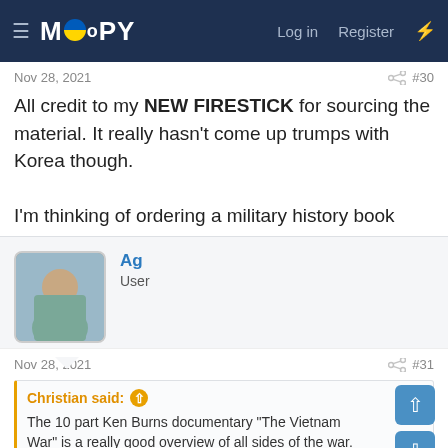MOOPY — Log in  Register
Nov 28, 2021  #30
All credit to my NEW FIRESTICK for sourcing the material. It really hasn't come up trumps with Korea though.

I'm thinking of ordering a military history book about Korea for teenagers.
Ag
User
Nov 28, 2021  #31
Christian said:
The 10 part Ken Burns documentary "The Vietnam War" is a really good overview of all sides of the war.
The Vietnam War (2017) directed by Ken Burns, Lynn Novick • Reviews, film + cast • Letterboxd